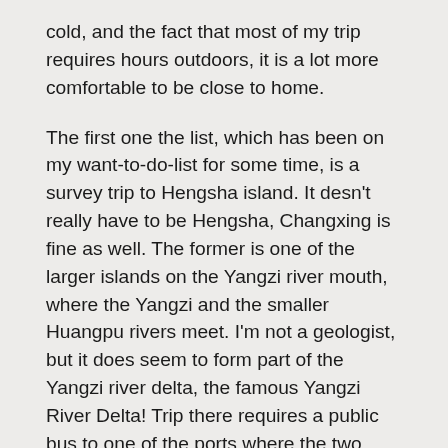cold, and the fact that most of my trip requires hours outdoors, it is a lot more comfortable to be close to home.
The first one the list, which has been on my want-to-do-list for some time, is a survey trip to Hengsha island. It desn't really have to be Hengsha, Changxing is fine as well. The former is one of the larger islands on the Yangzi river mouth, where the Yangzi and the smaller Huangpu rivers meet. I'm not a geologist, but it does seem to form part of the Yangzi river delta, the famous Yangzi River Delta! Trip there requires a public bus to one of the ports where the two rivers meet, as I wrote this, I had no idea which port the boats leave, but Google maps does suggest that I start with Wusong pier and so it shall. Taking a taxi there would be the easiest, but since when has adventure about taking the easiest path? Buses are not really that dodgy in Shanghai, but just for the fun of it, why not the bus? There are many places to board buses that goes to Wusong pier, and I settled on the closest one so that